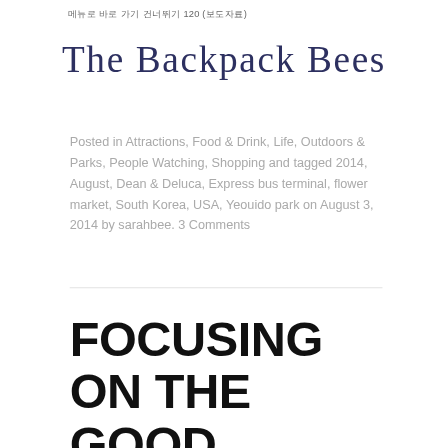메뉴로 바로 가기 건너뛰기 120 (보도자료)
The Backpack Bees
Posted in Attractions, Food & Drink, Life, Outdoors & Parks, People Watching, Shopping and tagged 2014, August, Dean & Deluca, Express bus terminal, flower market, South Korea, USA, Yeouido park on August 3, 2014 by sarahbee. 3 Comments
FOCUSING ON THE GOOD